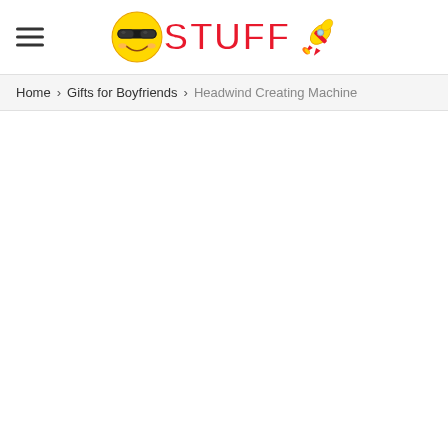STUFF logo with hamburger menu
Home > Gifts for Boyfriends > Headwind Creating Machine